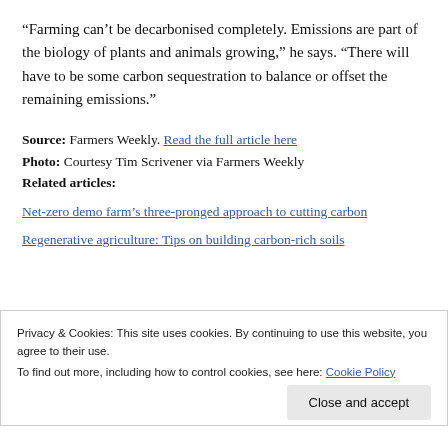“Farming can’t be decarbonised completely. Emissions are part of the biology of plants and animals growing,” he says. “There will have to be some carbon sequestration to balance or offset the remaining emissions.”
Source: Farmers Weekly. Read the full article here
Photo: Courtesy Tim Scrivener via Farmers Weekly
Related articles:
Net-zero demo farm’s three-pronged approach to cutting carbon
Regenerative agriculture: Tips on building carbon-rich soils
Privacy & Cookies: This site uses cookies. By continuing to use this website, you agree to their use.
To find out more, including how to control cookies, see here: Cookie Policy
Close and accept